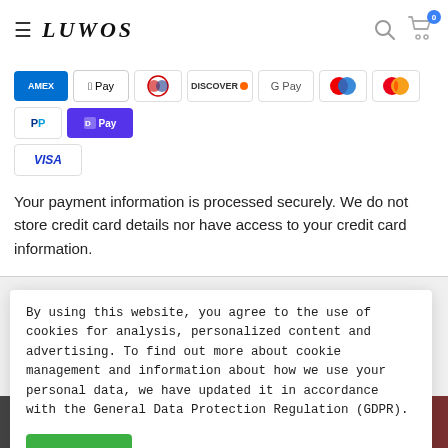LUWOS — navigation header with hamburger menu, logo, search and cart icons
[Figure (infographic): Row of payment method icons: AMEX, Apple Pay, Diners Club, Discover, Google Pay, Maestro, Mastercard, PayPal, Shop Pay, Visa]
Your payment information is processed securely. We do not store credit card details nor have access to your credit card information.
You may also like
By using this website, you agree to the use of cookies for analysis, personalized content and advertising. To find out more about cookie management and information about how we use your personal data, we have updated it in accordance with the General Data Protection Regulation (GDPR).